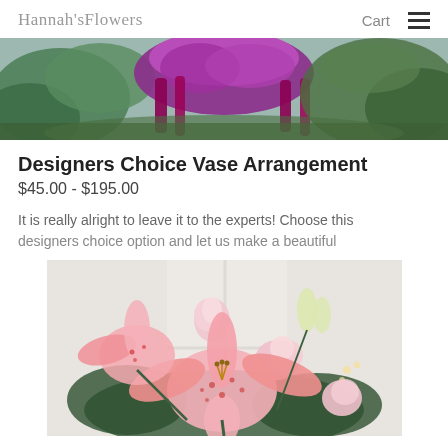Hannah's Flowers  Cart ☰
[Figure (photo): Top portion of a floral arrangement with purple/magenta flowers and green foliage against a gray background]
Designers Choice Vase Arrangement
$45.00 - $195.00
It is really alright to leave it to the experts! Choose this designers choice option and let us make a beautiful
[Figure (photo): A beautiful floral arrangement featuring pink stargazer lilies and light pink roses with green foliage]